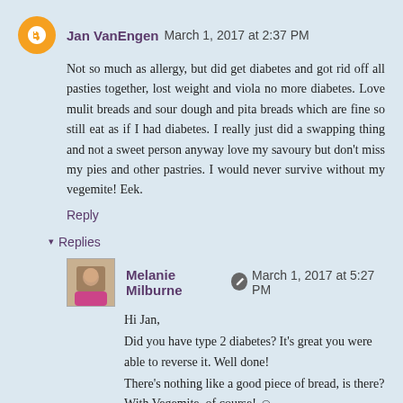Jan VanEngen  March 1, 2017 at 2:37 PM
Not so much as allergy, but did get diabetes and got rid off all pasties together, lost weight and viola no more diabetes. Love mulit breads and sour dough and pita breads which are fine so still eat as if I had diabetes. I really just did a swapping thing and not a sweet person anyway love my savoury but don't miss my pies and other pastries. I would never survive without my vegemite! Eek.
Reply
▾ Replies
Melanie Milburne  March 1, 2017 at 5:27 PM
Hi Jan,
Did you have type 2 diabetes? It's great you were able to reverse it. Well done!
There's nothing like a good piece of bread, is there? With Vegemite, of course! ☺